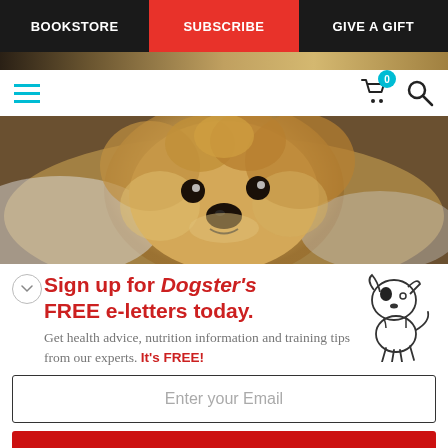BOOKSTORE | SUBSCRIBE | GIVE A GIFT
[Figure (photo): Fluffy golden puppy dog face close-up, soft blurred background]
Sign up for Dogster's FREE e-letters today. Get health advice, nutrition information and training tips from our experts. It's FREE!
Enter your Email
YES! SIGN ME UP